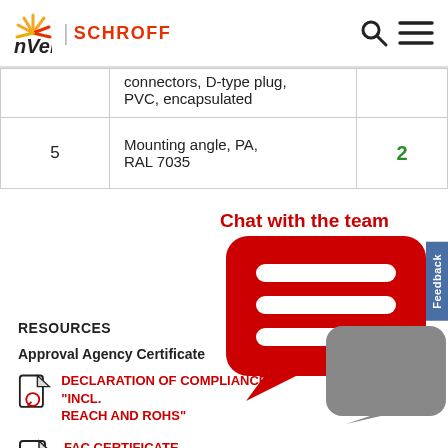nvent | SCHROFF
| # | Description | Qty |
| --- | --- | --- |
|  | connectors, D-type plug, PVC, encapsulated |  |
| 5 | Mounting angle, PA, RAL 7035 | 2 |
[Figure (illustration): Chat with the team - red chat bubble icon with speech bubbles, gray background bubble]
RESOURCES
Approval Agency Certificate
DECLARATION OF COMPLIANCE "INCL. REACH AND ROHS"
FAC CERTIFICATE